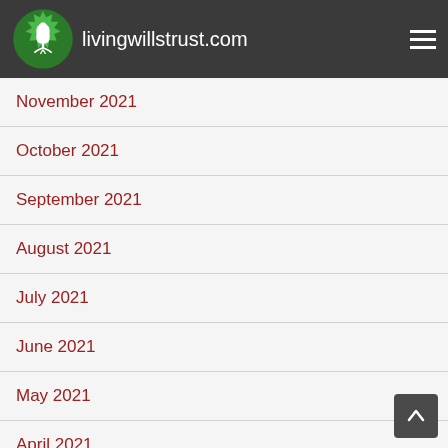livingwillstrust.com
November 2021
October 2021
September 2021
August 2021
July 2021
June 2021
May 2021
April 2021
March 2021
February 2021
January 2021